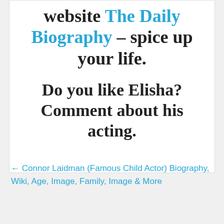website The Daily Biography – spice up your life.
Do you like Elisha? Comment about his acting.
← Connor Laidman (Famous Child Actor) Biography, Wiki, Age, Image, Family, Image & More